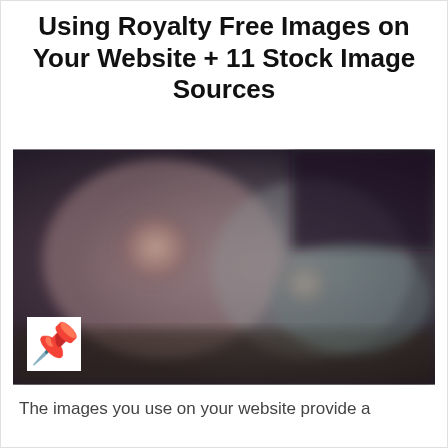Using Royalty Free Images on Your Website + 11 Stock Image Sources
[Figure (photo): Blurred close-up photograph with muted warm and cool tones, appearing to show a person or figure. A small white square containing a pushpin/thumbtack icon is overlaid in the lower-left corner of the image.]
The images you use on your website provide a